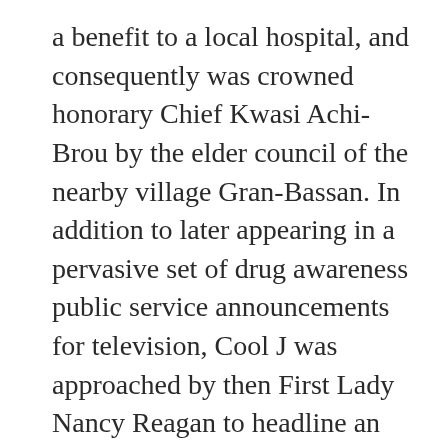a benefit to a local hospital, and consequently was crowned honorary Chief Kwasi Achi-Brou by the elder council of the nearby village Gran-Bassan. In addition to later appearing in a pervasive set of drug awareness public service announcements for television, Cool J was approached by then First Lady Nancy Reagan to headline an anti-drug benefit concert at New York City's Radio City Music Hall. Just as the general public was developing uneasiness over a link between rap music, gang violence, and narcotic addiction, Cool J stood firm on the issue. "Kids come to my show to have fun, not to hear how bad the